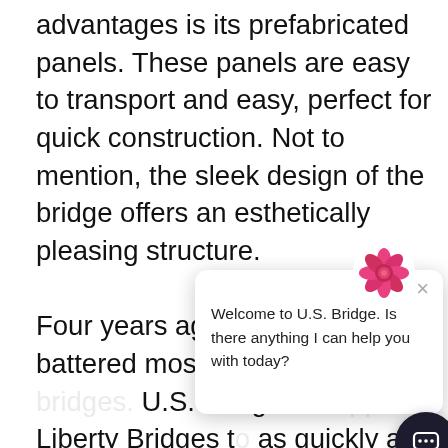advantages is its prefabricated panels. These panels are easy to transport and easy, perfect for quick construction. Not to mention, the sleek design of the bridge offers an esthetically pleasing structure.

Four years ago, Hurricane Maria battered most of [Puerto Rico's bridges]. U.S. Bridge to su[pport the] Liberty Bridges t[o be rebuilt] as quickly as pos[sible. Each] of Puerto Rico's five Liberty Bridges took a mere six weeks. Because of th[e] quick turnaround, residents and
[Figure (screenshot): Chat widget overlay showing a flower avatar, a close (×) button, and the message: 'Welcome to U.S. Bridge. Is there anything I can help you with today?' with a dark circular chat launcher button in the bottom-right corner.]